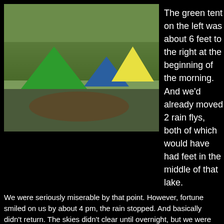[Figure (photo): Outdoor camping scene showing multiple tents (large green dome tent on left, blue tent in middle, yellow tent on right) on wet grassy ground with muddy areas, cars parked in background, overcast rainy day, autumn trees visible.]
The green tent on the left was about 6 feet to the right at the beginning of the morning. And we'd already moved 2 rain flys, both of which would have had feet in the middle of that lake.
We were seriously miserable by that point. However, fortune smiled on us by about 4 pm, the rain stopped. And basically didn't return. The skies didn't clear until overnight, but we were able to get a campfire going and spent about 3 or 4 hours after dinner sitting in front of it, drying out.